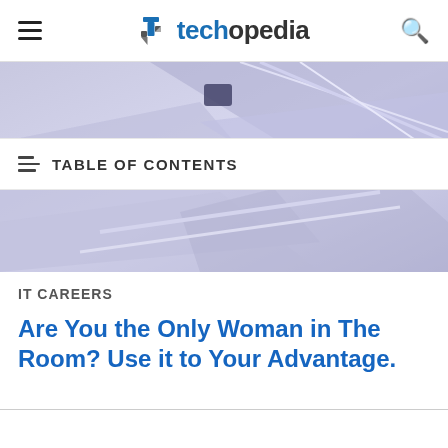techopedia
[Figure (illustration): Abstract purple/lavender geometric background with angular shapes and diagonal lines, partially obscured by the Table of Contents bar in the middle.]
TABLE OF CONTENTS
IT CAREERS
Are You the Only Woman in The Room? Use it to Your Advantage.